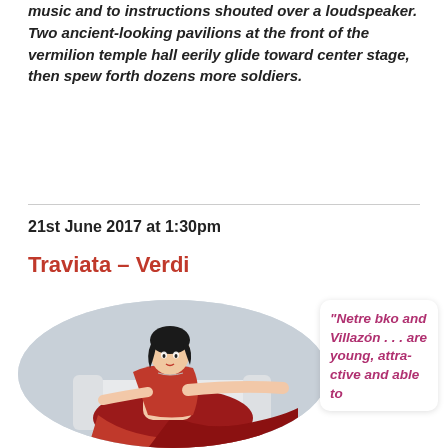music and to instructions shouted over a loudspeaker. Two ancient-looking pavilions at the front of the vermilion temple hall eerily glide toward center stage, then spew forth dozens more soldiers.
21st June 2017 at 1:30pm
Traviata – Verdi
[Figure (photo): A woman in a red dress reclining on a white surface, circular crop, light grey background.]
“Netre bko and Villazón . . . are young, attractive and able to